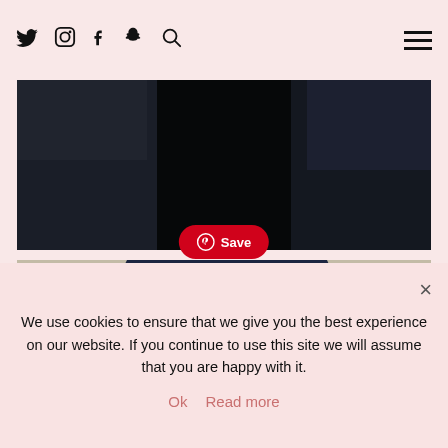Social icons: Twitter, Instagram, Facebook, Snapchat, Search; hamburger menu
[Figure (photo): Dark/black abstract photo, appears to show a person in dark clothing against a dark background]
Save
[Figure (photo): Photo of a blonde woman wearing orange/red mirrored sunglasses and earrings, against a dark navy background with cream/off-white abstract shapes]
We use cookies to ensure that we give you the best experience on our website. If you continue to use this site we will assume that you are happy with it.
Ok  Read more